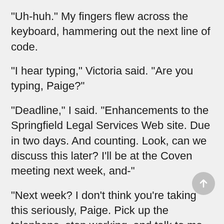"Uh-huh." My fingers flew across the keyboard, hammering out the next line of code.
"I hear typing," Victoria said. "Are you typing, Paige?"
"Deadline," I said. "Enhancements to the Springfield Legal Services Web site. Due in two days. And counting. Look, can we discuss this later? I'll be at the Coven meeting next week, and-"
"Next week? I don't think you're taking this seriously, Paige. Pick up the telephone, stop working, and talk to me. Where did you ever learn such manners? Not from your mother, rest her soul."
"If only that were true," I said.